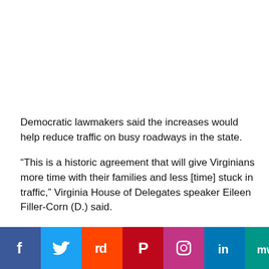Democratic lawmakers said the increases would help reduce traffic on busy roadways in the state.
“This is a historic agreement that will give Virginians more time with their families and less [time] stuck in traffic,” Virginia House of Delegates speaker Eileen Filler-Corn (D.) said.
Minority Leader Todd Gilbert (R.) criticized the move for hurting family budgets. “Virginians need to buckle up,” he said.
[Figure (other): Social media sharing bar with icons for Facebook, Twitter, Reddit, Pinterest, Instagram, LinkedIn, MediaWiki, Mix, WhatsApp, Tumblr, and News, plus a red scroll-to-top button.]